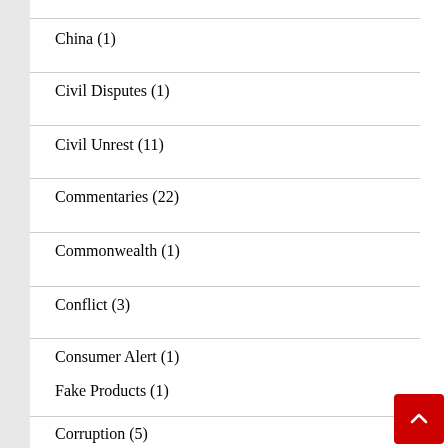China (1)
Civil Disputes (1)
Civil Unrest (11)
Commentaries (22)
Commonwealth (1)
Conflict (3)
Consumer Alert (1)
Fake Products (1)
Corruption (5)